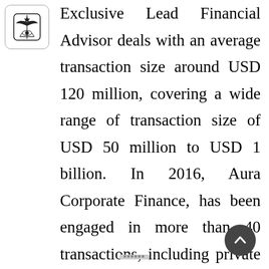[Figure (logo): Aura Corporate Finance logo — stylized emblem with balanced scale or ship wheel motif inside a rounded square border]
Exclusive Lead Financial Advisor deals with an average transaction size around USD 120 million, covering a wide range of transaction size of USD 50 million to USD 1 billion. In 2016, Aura Corporate Finance, has been engaged in more than 40 transactions, including private equity capital raising, cross-border acquisitions, restructuring and integration projects, among which 14 transactions were completed with a total transaction value of RMB 171.9 billion.